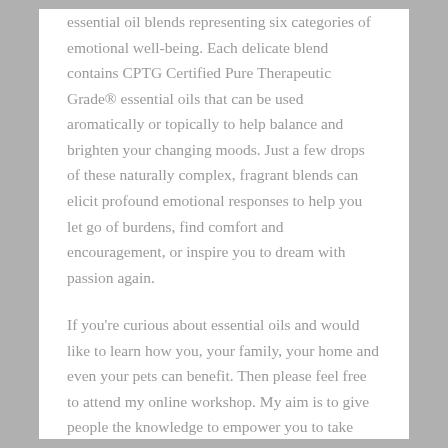essential oil blends representing six categories of emotional well-being. Each delicate blend contains CPTG Certified Pure Therapeutic Grade® essential oils that can be used aromatically or topically to help balance and brighten your changing moods. Just a few drops of these naturally complex, fragrant blends can elicit profound emotional responses to help you let go of burdens, find comfort and encouragement, or inspire you to dream with passion again.
If you're curious about essential oils and would like to learn how you, your family, your home and even your pets can benefit. Then please feel free to attend my online workshop. My aim is to give people the knowledge to empower you to take charge of your own health care and learn how to keep safe with natural, chemical free solutions.
“When someone shares something of value with